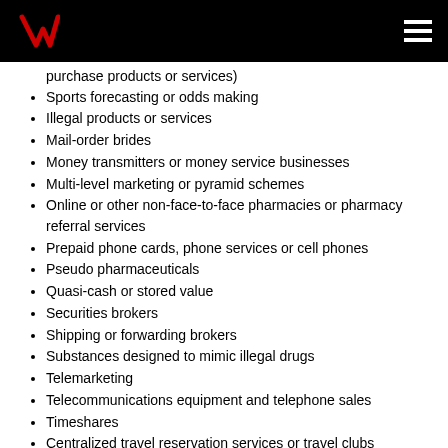Verizon
purchase products or services)
Sports forecasting or odds making
Illegal products or services
Mail-order brides
Money transmitters or money service businesses
Multi-level marketing or pyramid schemes
Online or other non-face-to-face pharmacies or pharmacy referral services
Prepaid phone cards, phone services or cell phones
Pseudo pharmaceuticals
Quasi-cash or stored value
Securities brokers
Shipping or forwarding brokers
Substances designed to mimic illegal drugs
Telemarketing
Telecommunications equipment and telephone sales
Timeshares
Centralized travel reservation services or travel clubs